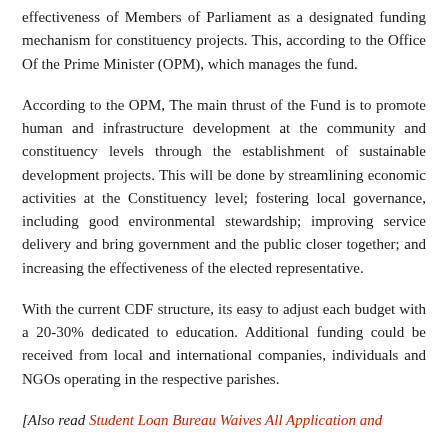effectiveness of Members of Parliament as a designated funding mechanism for constituency projects. This, according to the Office Of the Prime Minister (OPM), which manages the fund.
According to the OPM, The main thrust of the Fund is to promote human and infrastructure development at the community and constituency levels through the establishment of sustainable development projects. This will be done by streamlining economic activities at the Constituency level; fostering local governance, including good environmental stewardship; improving service delivery and bring government and the public closer together; and increasing the effectiveness of the elected representative.
With the current CDF structure, its easy to adjust each budget with a 20-30% dedicated to education. Additional funding could be received from local and international companies, individuals and NGOs operating in the respective parishes.
[Also read Student Loan Bureau Waives All Application and